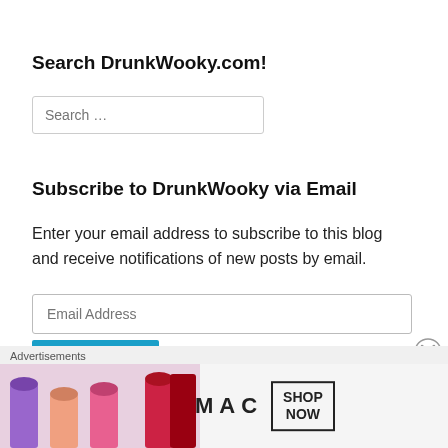Search DrunkWooky.com!
Search …
Subscribe to DrunkWooky via Email
Enter your email address to subscribe to this blog and receive notifications of new posts by email.
Email Address
Subscribe
Advertisements
[Figure (photo): MAC Cosmetics advertisement showing colorful lipsticks with MAC logo and SHOP NOW button]